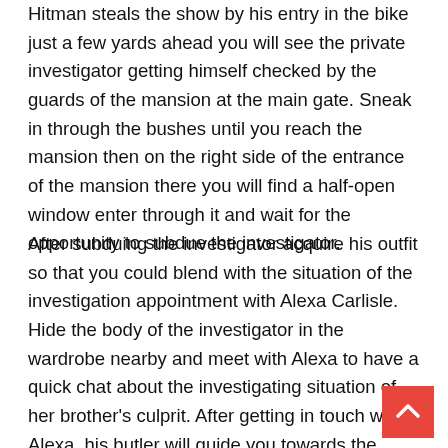Hitman steals the show by his entry in the bike just a few yards ahead you will see the private investigator getting himself checked by the guards of the mansion at the main gate. Sneak in through the bushes until you reach the mansion then on the right side of the entrance of the mansion there you will find a half-open window enter through it and wait for the opportunity to subdue the investigator.
After subduing the investigator acquire his outfit so that you could blend with the situation of the investigation appointment with Alexa Carlisle. Hide the body of the investigator in the wardrobe nearby and meet with Alexa to have a quick chat about the investigating situation of her brother's culprit. After getting in touch with Alexa, his butler will guide you towards the room in which his brother was found dead with a suicide note which the family denies believing that it was a case of suicide instead they feel it's a case of murder.